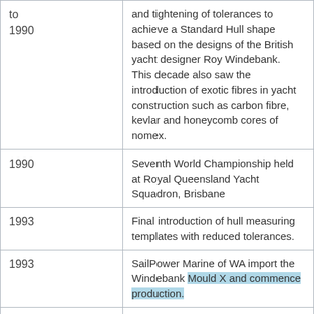| Year | Event |
| --- | --- |
| to
1990 | and tightening of tolerances to achieve a Standard Hull shape based on the designs of the British yacht designer Roy Windebank.
This decade also saw the introduction of exotic fibres in yacht construction such as carbon fibre, kevlar and honeycomb cores of nomex. |
| 1990 | Seventh World Championship held at Royal Queensland Yacht Squadron, Brisbane |
| 1993 | Final introduction of hull measuring templates with reduced tolerances. |
| 1993 | SailPower Marine of WA import the Windebank Mould X and commence production. |
| 1997 | 50th Anniversary and beyond... |